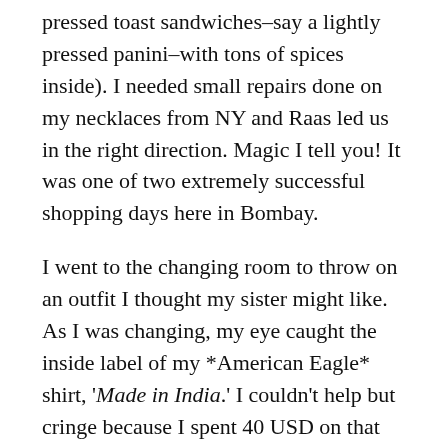pressed toast sandwiches–say a lightly pressed panini–with tons of spices inside). I needed small repairs done on my necklaces from NY and Raas led us in the right direction. Magic I tell you! It was one of two extremely successful shopping days here in Bombay.
I went to the changing room to throw on an outfit I thought my sister might like. As I was changing, my eye caught the inside label of my *American Eagle* shirt, 'Made in India.' I couldn't help but cringe because I spent 40 USD on that sucker, which I could have easily gotten 'Made in India' for 5 USD. Note to American Eagle: stick by your brand name! Make your damn clothes in America.